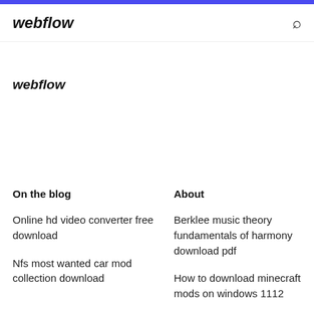webflow
webflow
On the blog
About
Online hd video converter free download
Berklee music theory fundamentals of harmony download pdf
Nfs most wanted car mod collection download
How to download minecraft mods on windows 1112